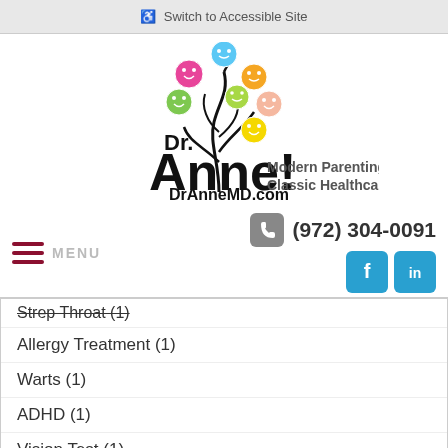♿ Switch to Accessible Site
[Figure (logo): Dr. Anne! Modern Parenting, Classic Healthcare. DrAnneMD.com logo with colorful smiley face tree]
☰ MENU   📞 (972) 304-0091
Strep Throat (1)
Allergy Treatment (1)
Warts (1)
ADHD (1)
Vision Test (1)
Brushing (1)